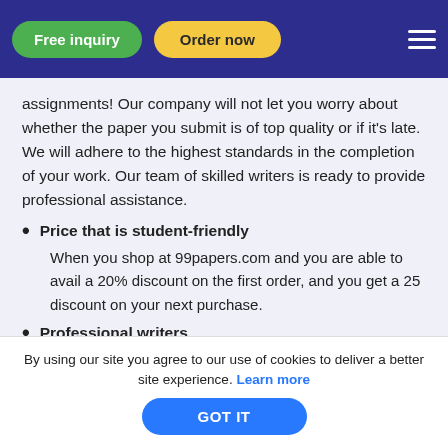Free inquiry | Order now
assignments! Our company will not let you worry about whether the paper you submit is of top quality or if it's late. We will adhere to the highest standards in the completion of your work. Our team of skilled writers is ready to provide professional assistance.
Price that is student-friendly
When you shop at 99papers.com and you are able to avail a 20% discount on the first order, and you get a 25 discount on your next purchase.
Professional writers
By using our site you agree to our use of cookies to deliver a better site experience. Learn more
GOT IT